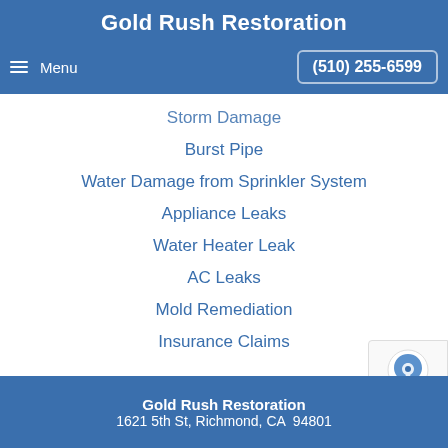Gold Rush Restoration
Menu | (510) 255-6599
Storm Damage
Burst Pipe
Water Damage from Sprinkler System
Appliance Leaks
Water Heater Leak
AC Leaks
Mold Remediation
Insurance Claims
Gold Rush Restoration
1621 5th St, Richmond, CA  94801